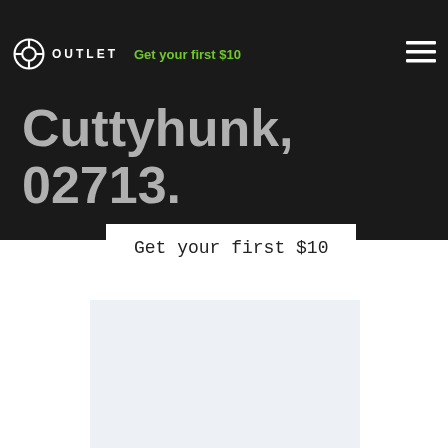OUTLET  Get your first $10
Cuttyhunk, 02713.
Get your first $10
[Figure (map): Light blue-grey map placeholder area showing a geographic map region]